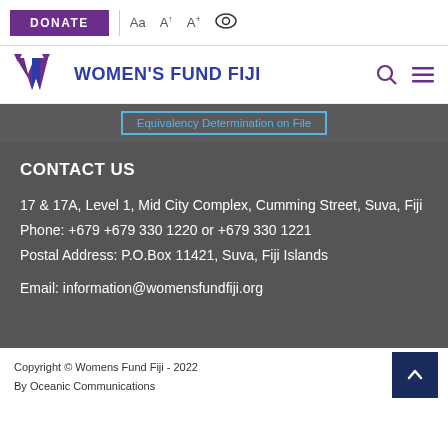DONATE | Aa A+ A+ [eye icon]
[Figure (logo): Women's Fund Fiji logo with stylized W graphic and site name in blue, search and menu icons in purple]
Equivalency Determination on File
CONTACT US
17 & 17A, Level 1, Mid City Complex, Cumming Street, Suva, Fiji
Phone: +679 +679 330 1220 or +679 330 1221
Postal Address: P.O.Box 11421, Suva, Fiji Islands
Email: information@womensfundfiji.org
Copyright © Womens Fund Fiji - 2022
By Oceanic Communications